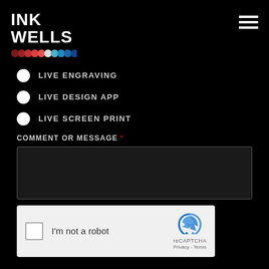[Figure (logo): INK WELLS logo with colored dot row beneath]
[Figure (other): Hamburger menu icon (three white horizontal lines)]
LIVE ENGRAVING
LIVE DESIGN APP
LIVE SCREEN PRINT
COMMENT OR MESSAGE *
[Figure (screenshot): Empty textarea input box]
[Figure (other): reCAPTCHA widget: checkbox, I'm not a robot text, reCAPTCHA logo, Privacy and Terms links]